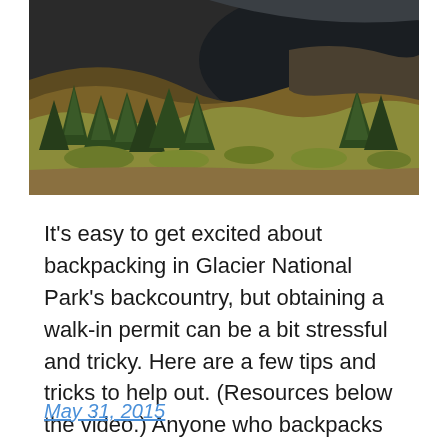[Figure (photo): Aerial or hillside view of Glacier National Park showing rocky slopes with evergreen trees (pines/firs) and a dark mountain lake or river visible in the background. Landscape orientation, warm earthy tones with dark water.]
It's easy to get excited about backpacking in Glacier National Park's backcountry, but obtaining a walk-in permit can be a bit stressful and tricky. Here are a few tips and tricks to help out. (Resources below the video.) Anyone who backpacks in Glacier National Park needs a backcountry permit. They come in two flavors: advanced […]
May 31, 2015